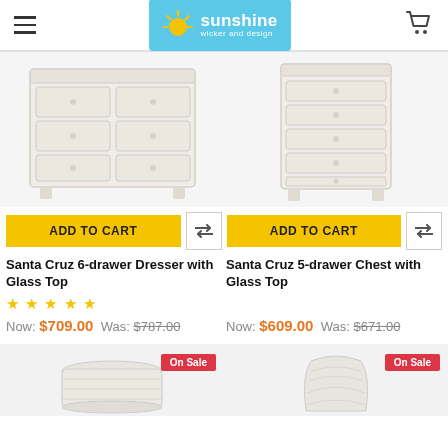Sunshine Wicker and Design
[Figure (photo): White 6-drawer dresser with glass top - Santa Cruz collection]
[Figure (photo): White 5-drawer chest with glass top - Santa Cruz collection]
ADD TO CART
ADD TO CART
Santa Cruz 6-drawer Dresser with Glass Top
Santa Cruz 5-drawer Chest with Glass Top
★ ★ ★ ★ ★
Now: $709.00  Was: $787.00
Now: $609.00  Was: $671.00
[Figure (photo): Wicker basket/ottomam product thumbnail with On Sale badge]
[Figure (photo): Wicker chair product thumbnail with On Sale badge]